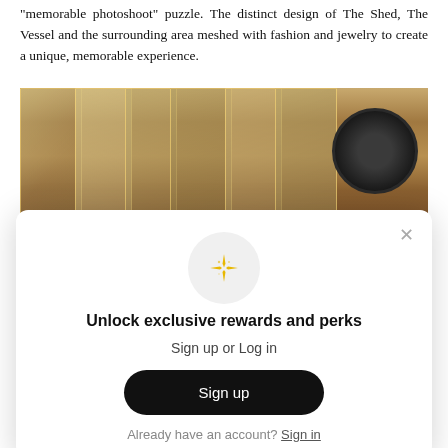“memorable photoshoot” puzzle. The distinct design of The Shed, The Vessel and the surrounding area meshed with fashion and jewelry to create a unique, memorable experience.
[Figure (photo): Interior photo showing gold/bronze glass panels and architectural framework of a building, with a camera lens visible at the right side]
[Figure (screenshot): Modal popup overlay with sparkle icon, heading 'Unlock exclusive rewards and perks', subtext 'Sign up or Log in', a black 'Sign up' button, and 'Already have an account? Sign in' link]
[Figure (photo): Partial photo at the bottom of the page showing a person in a blue outfit]